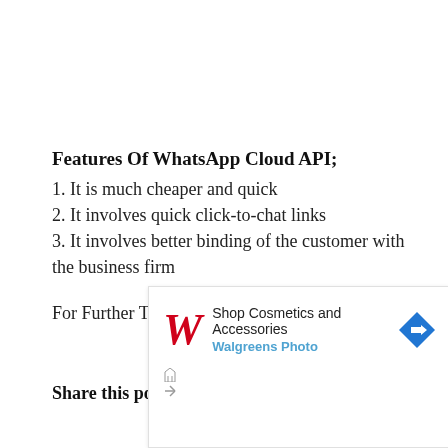Features Of WhatsApp Cloud API;
1. It is much cheaper and quick
2. It involves quick click-to-chat links
3. It involves better binding of the customer with the business firm
For Further Tips and Tricks Click Here.
Share this post: [Twitter icon] on Twitter
[Figure (screenshot): Walgreens Photo advertisement: 'Shop Cosmetics and Accessories' with Walgreens logo and navigation arrow icon]